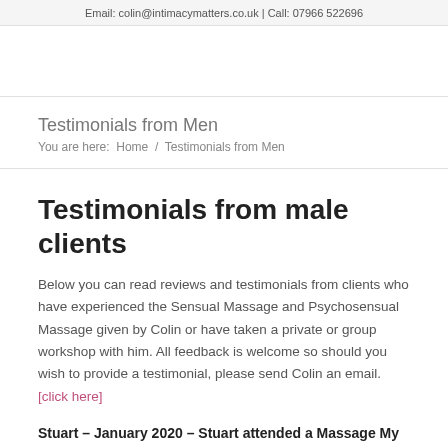Email: colin@intimacymatters.co.uk | Call: 07966 522696
Testimonials from Men
You are here:  Home  /  Testimonials from Men
Testimonials from male clients
Below you can read reviews and testimonials from clients who have experienced the Sensual Massage and Psychosensual Massage given by Colin or have taken a private or group workshop with him. All feedback is welcome so should you wish to provide a testimonial, please send Colin an email. [click here]
Stuart – January 2020 – Stuart attended a Massage My